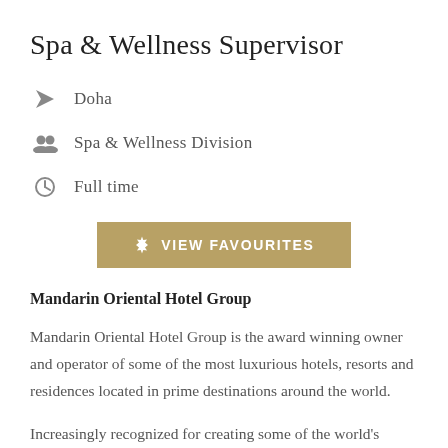Spa & Wellness Supervisor
Doha
Spa & Wellness Division
Full time
[Figure (other): Gold button labeled VIEW FAVOURITES with a gear/settings icon]
Mandarin Oriental Hotel Group
Mandarin Oriental Hotel Group is the award winning owner and operator of some of the most luxurious hotels, resorts and residences located in prime destinations around the world.
Increasingly recognized for creating some of the world's